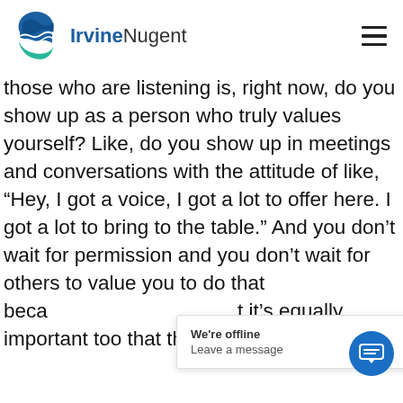IrvineNugent
those who are listening is, right now, do you show up as a person who truly values yourself? Like, do you show up in meetings and conversations with the attitude of like, “Hey, I got a voice, I got a lot to offer here. I got a lot to bring to the table.” And you don’t wait for permission and you don’t wait for others to value you to do that beca[use]... t[hat] it’s equally important too that there’s